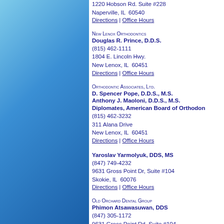[Figure (illustration): Blue gradient sidebar on left side of page]
1220 Hobson Rd. Suite #228
Naperville, IL  60540
Directions | Office Hours
New Lenox Orthodontics
Douglas R. Prince, D.D.S.
(815) 462-1111
1804 E. Lincoln Hwy.
New Lenox, IL  60451
Directions | Office Hours
Orthodontic Associates, Ltd.
D. Spencer Pope, D.D.S., M.S.
Anthony J. Maoloni, D.D.S., M.S.
Diplomates, American Board of Orthodontics
(815) 462-3232
311 Alana Drive
New Lenox, IL  60451
Directions | Office Hours
Yaroslav Yarmolyuk, DDS, MS
(847) 749-4232
9631 Gross Point Dr, Suite #104
Skokie, IL  60076
Directions | Office Hours
Old Orchard Dental Group
Phimon Atsawasuwan, DDS
(847) 305-1172
9631 Gross Point Rd, Suite #104
Skokie, IL  60076